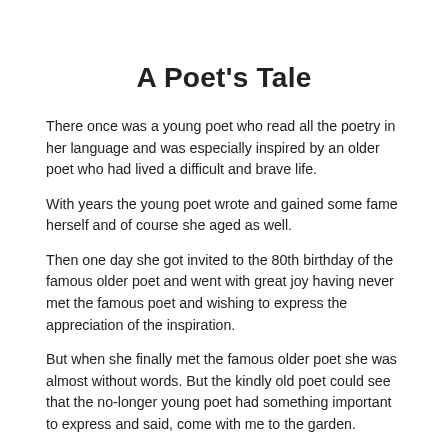A Poet's Tale
There once was a young poet who read all the poetry in her language and was especially inspired by an older poet who had lived a difficult and brave life.
With years the young poet wrote and gained some fame herself and of course she aged as well.
Then one day she got invited to the 80th birthday of the famous older poet and went with great joy having never met the famous poet and wishing to express the appreciation of the inspiration.
But when she finally met the famous older poet she was almost without words. But the kindly old poet could see that the no-longer young poet had something important to express and said, come with me to the garden.
They walked together silently for a while and the older poet said. "Do you see these flowers, they have been one of my main inspirations" and with this the younger poet began to cry and said. "this is what i wish to tell you, that all my life, you work, your struggle has been my greatest inspiration, if i have done any thing which is beautiful, it is